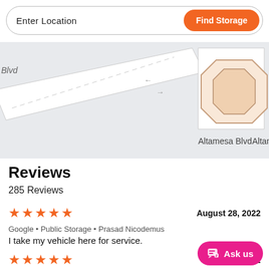Enter Location
Find Storage
[Figure (map): Street map showing Altamesa Blvd with road markings and a highlighted building location]
Reviews
285 Reviews
★★★★★  August 28, 2022
Google • Public Storage • Prasad Nicodemus
I take my vehicle here for service.
★★★★★  July 25, 2022
Ask us